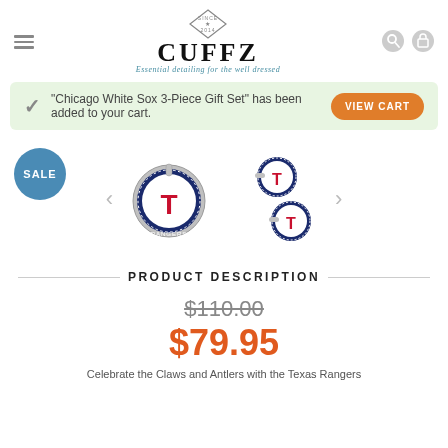[Figure (logo): CUFFZ logo with diamond shape above, text 'CUFFZ' in large serif font, subtitle 'Essential detailing for the well dressed' in cursive blue]
"Chicago White Sox 3-Piece Gift Set" has been added to your cart.
VIEW CART
[Figure (photo): Texas Rangers cufflinks and tie bar set. Two product images side by side: one large cufflink and one set of two cufflinks plus a tie bar. SALE badge visible. Left and right navigation arrows.]
PRODUCT DESCRIPTION
$110.00
$79.95
Celebrate the Claws and Antlers with the Texas Rangers